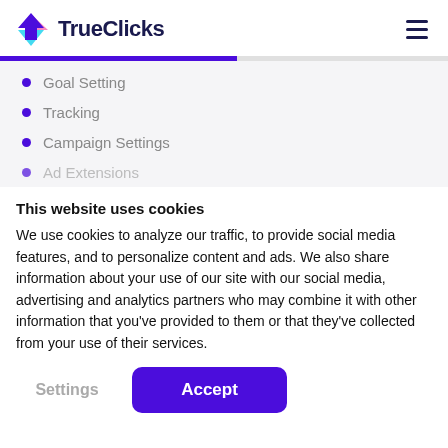TrueClicks
Goal Setting
Tracking
Campaign Settings
Ad Extensions
This website uses cookies
We use cookies to analyze our traffic, to provide social media features, and to personalize content and ads. We also share information about your use of our site with our social media, advertising and analytics partners who may combine it with other information that you've provided to them or that they've collected from your use of their services.